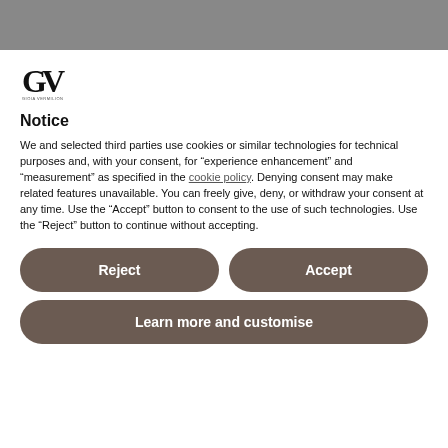[Figure (logo): GV logo with stylized G and V letters and small text beneath]
Notice
We and selected third parties use cookies or similar technologies for technical purposes and, with your consent, for “experience enhancement” and “measurement” as specified in the cookie policy. Denying consent may make related features unavailable. You can freely give, deny, or withdraw your consent at any time. Use the “Accept” button to consent to the use of such technologies. Use the “Reject” button to continue without accepting.
Reject
Accept
Learn more and customise